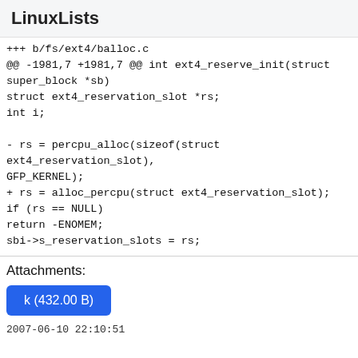LinuxLists
+++ b/fs/ext4/balloc.c
@@ -1981,7 +1981,7 @@ int ext4_reserve_init(struct super_block *sb)
struct ext4_reservation_slot *rs;
int i;

- rs = percpu_alloc(sizeof(struct ext4_reservation_slot), GFP_KERNEL);
+ rs = alloc_percpu(struct ext4_reservation_slot);
if (rs == NULL)
return -ENOMEM;
sbi->s_reservation_slots = rs;
Attachments:
k (432.00 B)
2007-06-10 22:10:51